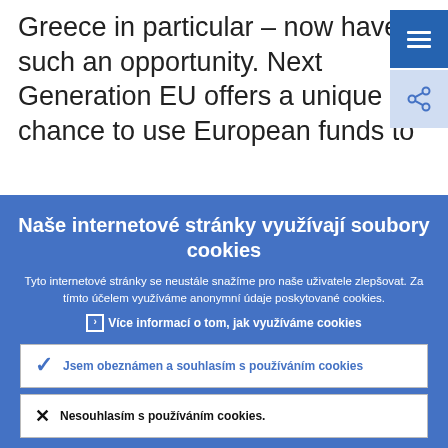Greece in particular – now have such an opportunity. Next Generation EU offers a unique chance to use European funds to
Naše internetové stránky využívají soubory cookies
Tyto internetové stránky se neustále snažíme pro naše uživatele zlepšovat. Za tímto účelem využíváme anonymní údaje poskytované cookies.
› Více informací o tom, jak využíváme cookies
✓ Jsem obeznámen a souhlasím s používáním cookies
✕ Nesouhlasím s používáním cookies.